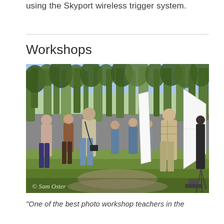using the Skyport wireless trigger system.
Workshops
[Figure (photo): Outdoor photography workshop scene in a eucalyptus woodland. A group of approximately 10 people stand around an instructor in a plaid shirt. Photography equipment including a large softbox and reflector panel are visible. A watermark reads '© Sam Oster' at the bottom left.]
"One of the best photo workshop teachers in the